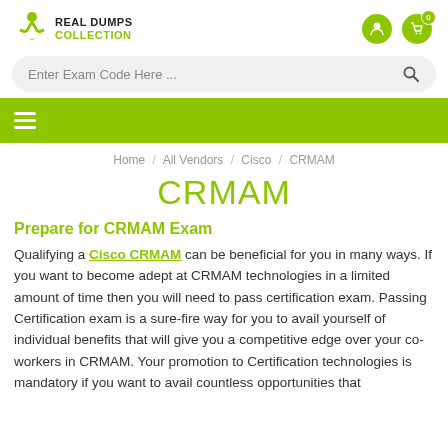Real Dumps Collection
[Figure (logo): Real Dumps Collection logo with green figure icon and bold text]
Enter Exam Code Here ...
CRMAM
Home / All Vendors / Cisco / CRMAM
CRMAM
Prepare for CRMAM Exam
Qualifying a Cisco CRMAM can be beneficial for you in many ways. If you want to become adept at CRMAM technologies in a limited amount of time then you will need to pass certification exam. Passing Certification exam is a sure-fire way for you to avail yourself of individual benefits that will give you a competitive edge over your co-workers in CRMAM. Your promotion to Certification technologies is mandatory if you want to avail countless opportunities that